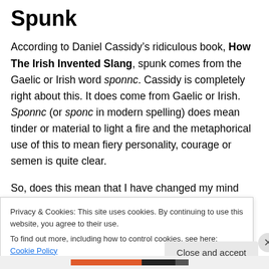Spunk
According to Daniel Cassidy’s ridiculous book, How The Irish Invented Slang, spunk comes from the Gaelic or Irish word sponnc. Cassidy is completely right about this. It does come from Gaelic or Irish. Sponnc (or sponc in modern spelling) does mean tinder or material to light a fire and the metaphorical use of this to mean fiery personality, courage or semen is quite clear.
So, does this mean that I have changed my mind about Daniel Cassidy and that I have decided to support him?
Privacy & Cookies: This site uses cookies. By continuing to use this website, you agree to their use.
To find out more, including how to control cookies, see here: Cookie Policy
Close and accept